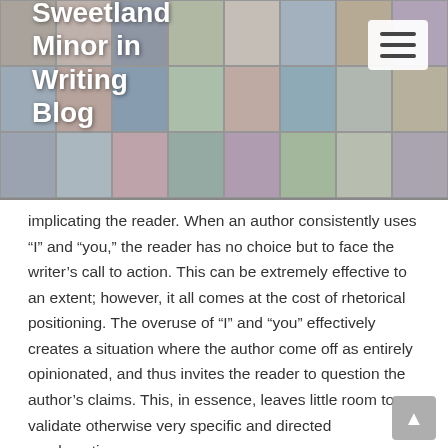[Figure (photo): Header banner showing a photo collage grid with multiple portrait and lifestyle photos, used as website header background for Sweetland Minor in Writing Blog]
Sweetland Minor in Writing Blog
implicating the reader. When an author consistently uses “I” and “you,” the reader has no choice but to face the writer’s call to action. This can be extremely effective to an extent; however, it all comes at the cost of rhetorical positioning. The overuse of “I” and “you” effectively creates a situation where the author come off as entirely opinionated, and thus invites the reader to question the author’s claims. This, in essence, leaves little room to validate otherwise very specific and directed proclamations.
On the completely opposite end of the spectrum, where the author refuses to use either “I” or “you,” the author loses a sense of implication but gains a more